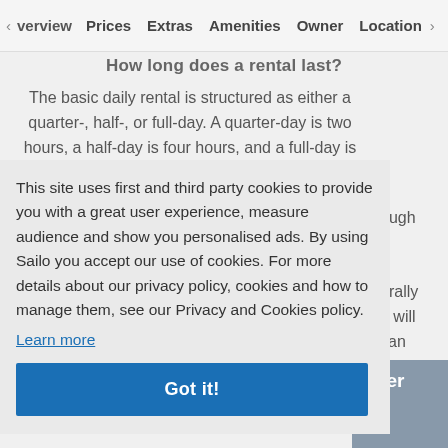Overview  Prices  Extras  Amenities  Owner  Location
How long does a rental last?
The basic daily rental is structured as either a quarter-, half-, or full-day. A quarter-day is two hours, a half-day is four hours, and a full-day is eight hours. You can also discuss a [...]ough n [...]erally u will can
This site uses first and third party cookies to provide you with a great user experience, measure audience and show you personalised ads. By using Sailo you accept our use of cookies. For more details about our privacy policy, cookies and how to manage them, see our Privacy and Cookies policy.
Learn more
Got it!
wner